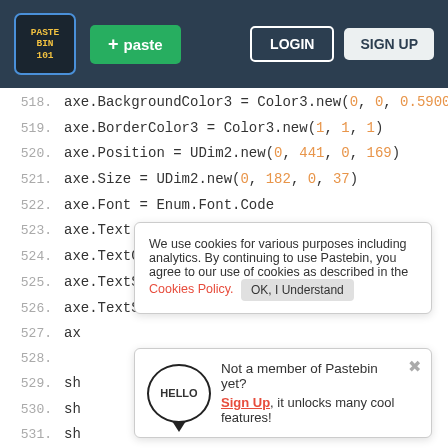Pastebin header with logo, paste button, login, sign up
518. axe.BackgroundColor3 = Color3.new(0, 0, 0.590078)
519. axe.BorderColor3 = Color3.new(1, 1, 1)
520. axe.Position = UDim2.new(0, 441, 0, 169)
521. axe.Size = UDim2.new(0, 182, 0, 37)
522. axe.Font = Enum.Font.Code
523. axe.Text = "FE Axe Command"
524. axe.TextColor3 = Color3.new(1, 1, 1)
525. axe.TextScaled = true
526. axe.TextSize = 14
527. ax
528.
529. sh
530. sh
531. sh 0.
532. sh
533. sharkbite2.Position = UDim2.new(0, 21, 0, 169)
We use cookies for various purposes including analytics. By continuing to use Pastebin, you agree to our use of cookies as described in the Cookies Policy. OK, I Understand
Not a member of Pastebin yet? Sign Up, it unlocks many cool features!